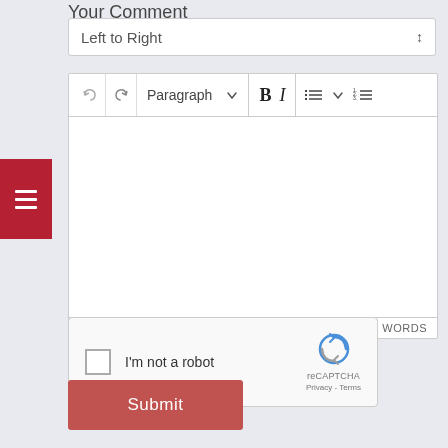Your Comment
[Figure (screenshot): Dropdown selector showing 'Left to Right' with up-down arrow]
[Figure (screenshot): Rich text editor toolbar with undo/redo, Paragraph dropdown, Bold, Italic, bullet list, numbered list buttons, and empty content area with 0 WORDS count]
[Figure (screenshot): Red hamburger menu button overlaid on the left side of the editor]
[Figure (screenshot): reCAPTCHA widget with checkbox, 'I'm not a robot' label, reCAPTCHA logo, Privacy and Terms links]
Submit